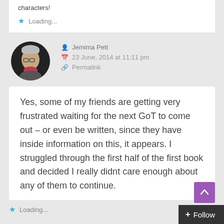characters!
Loading...
Jemima Pett
23 June, 2014 at 11:11 pm
Permalink
Yes, some of my friends are getting very frustrated waiting for the next GoT to come out – or even be written, since they have inside information on this, it appears. I struggled through the first half of the first book and decided I really didnt care enough about any of them to continue.
Loading...